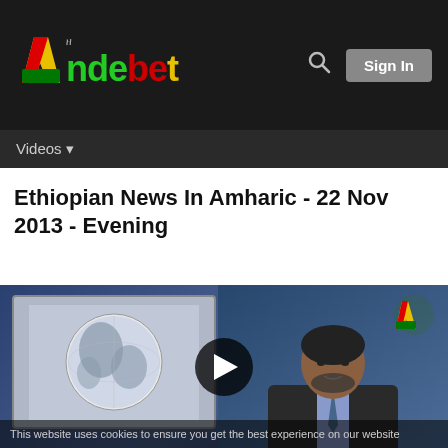[Figure (logo): Andebet website logo with colorful letter A and text in green, red, yellow]
Sign In
Videos
Ethiopian News In Amharic - 22 Nov 2013 - Evening
[Figure (screenshot): Video thumbnail showing a news presenter in suit on right side with a globe graphic on a screen on the left. A play button overlay is visible in the center. Andebet logo watermark in top right. Cookie notice text at bottom: This website uses cookies to ensure you get the best experience on our website]
This website uses cookies to ensure you get the best experience on our website